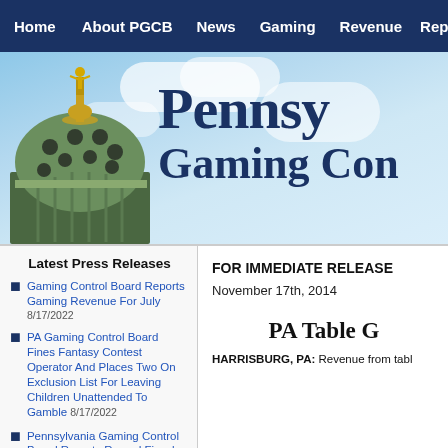Home | About PGCB | News | Gaming | Revenue | Repo...
[Figure (screenshot): Pennsylvania Gaming Control Board website banner showing capitol dome on left and 'Pennsylvania Gaming Control Board' text on right against blue sky background]
Latest Press Releases
Gaming Control Board Reports Gaming Revenue For July 8/17/2022
PA Gaming Control Board Fines Fantasy Contest Operator And Places Two On Exclusion List For Leaving Children Unattended To Gamble 8/17/2022
Pennsylvania Gaming Control Board Reports Record Fiscal...
FOR IMMEDIATE RELEASE
November 17th, 2014
PA Table G...
HARRISBURG, PA: Revenue from tabl...